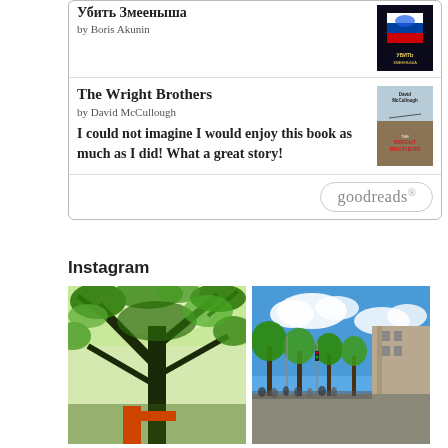Убить Змееныша by Boris Akunin
The Wright Brothers
by David McCullough
I could not imagine I would enjoy this book as much as I did! What a great story!
[Figure (logo): goodreads logo button]
Instagram
[Figure (photo): Looking up through green tree canopy with branches, outdoor scene with red equipment visible below]
[Figure (photo): Street scene with trees lining a wide pedestrian street, blue sky with clouds, buildings on right, crowd of people]